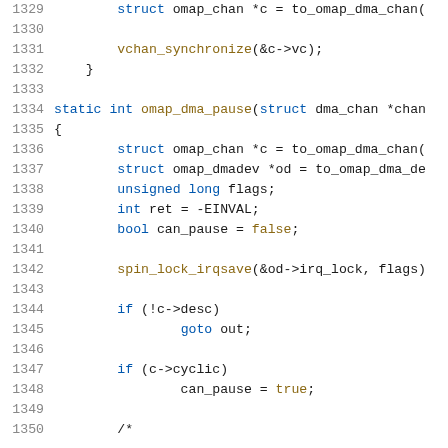[Figure (screenshot): Source code listing showing C code for omap_dma_pause function, lines 1329-1350, with syntax highlighting. Line numbers in gray on left, keywords in blue, function names in gold/brown, values in blue.]